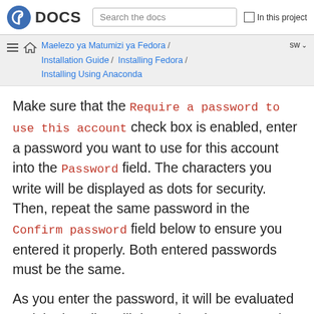DOCS | Search the docs | In this project
Maelezo ya Matumizi ya Fedora / Installation Guide / Installing Fedora / Installing Using Anaconda | sw
Make sure that the Require a password to use this account check box is enabled, enter a password you want to use for this account into the Password field. The characters you write will be displayed as dots for security. Then, repeat the same password in the Confirm password field below to ensure you entered it properly. Both entered passwords must be the same.
As you enter the password, it will be evaluated and the installer will determine the password's strength. If the installer considers your password weak, a